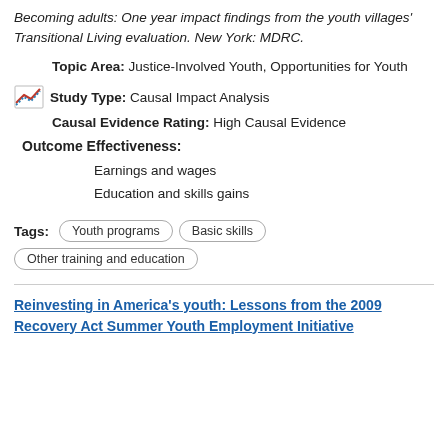Becoming adults: One year impact findings from the youth villages' Transitional Living evaluation. New York: MDRC.
Topic Area: Justice-Involved Youth, Opportunities for Youth
Study Type: Causal Impact Analysis
Causal Evidence Rating: High Causal Evidence
Outcome Effectiveness:
Earnings and wages
Education and skills gains
Tags: Youth programs | Basic skills | Other training and education
Reinvesting in America's youth: Lessons from the 2009 Recovery Act Summer Youth Employment Initiative